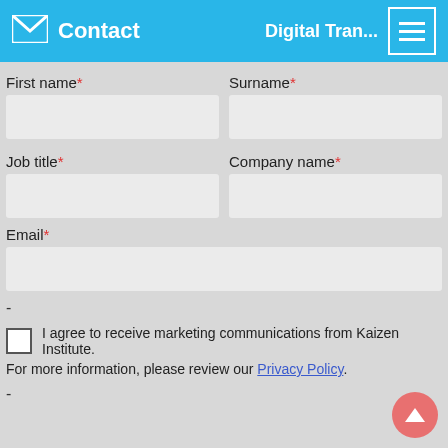Contact | Digital Tran...
First name* | Surname*
Job title* | Company name*
Email*
-
I agree to receive marketing communications from Kaizen Institute.
For more information, please review our Privacy Policy.
-